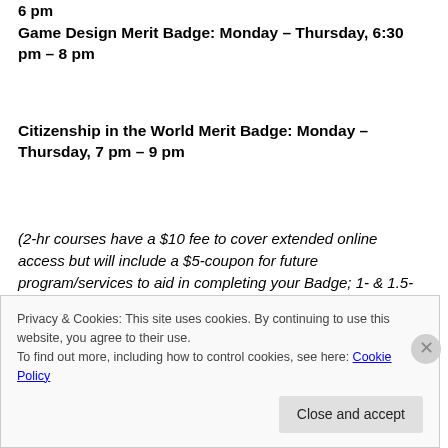6 pm
Game Design Merit Badge: Monday – Thursday, 6:30 pm – 8 pm
Citizenship in the World Merit Badge: Monday – Thursday, 7 pm – 9 pm
(2-hr courses have a $10 fee to cover extended online access but will include a $5-coupon for future program/services to aid in completing your Badge; 1- & 1.5-hr courses are $5.)
Privacy & Cookies: This site uses cookies. By continuing to use this website, you agree to their use.
To find out more, including how to control cookies, see here: Cookie Policy